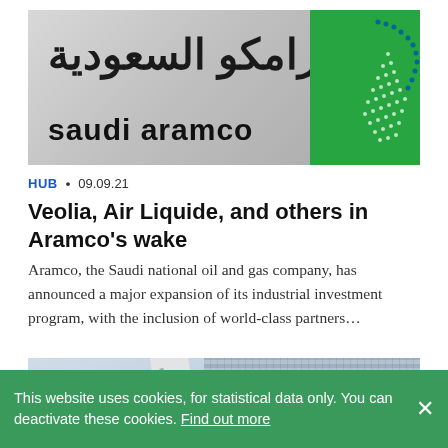[Figure (photo): Aramco (Saudi Aramco) sign/logo on a wall with Arabic text 'أرامكو السعودية' and Latin text 'saudi aramco', with the green and blue Aramco flame logo on the right side.]
HUB • 09.09.21
Veolia, Air Liquide, and others in Aramco's wake
Aramco, the Saudi national oil and gas company, has announced a major expansion of its industrial investment program, with the inclusion of world-class partners…
[Figure (photo): Photograph showing flags and a tall glass-facade building against a cloudy sky.]
This website uses cookies, for statistical data only. You can deactivate these cookies. Find out more